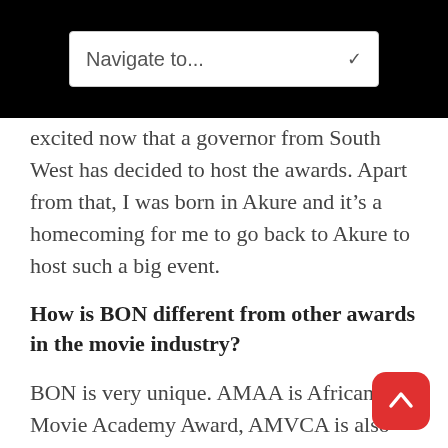Navigate to...
excited now that a governor from South West has decided to host the awards. Apart from that, I was born in Akure and it’s a homecoming for me to go back to Akure to host such a big event.
How is BON different from other awards in the movie industry?
BON is very unique. AMAA is African Movie Academy Award, AMVCA is also Africa Magic Viewers Choice Award. They try to judge all the movies in Africa. Best